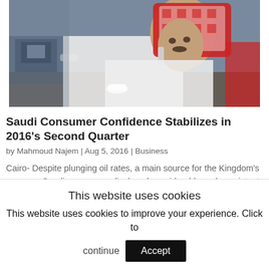[Figure (photo): A Saudi man wearing traditional red-and-white checkered keffiyeh talks on a phone at what appears to be a trading desk or office environment with monitors and phones visible in the background.]
Saudi Consumer Confidence Stabilizes in 2016's Second Quarter
by Mahmoud Najem | Aug 5, 2016 | Business
Cairo- Despite plunging oil rates, a main source for the Kingdom's revenue, Saudi consumers displayed considerable and consistent confidence in their
This website uses cookies
This website uses cookies to improve your experience. Click to continue  Accept